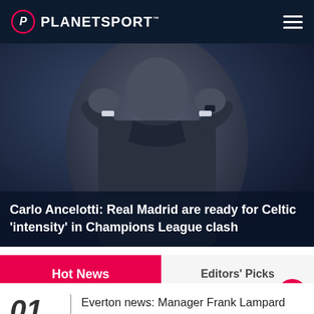PLANETSPORT
[Figure (photo): Carlo Ancelotti in dark jacket, hands clasped, against a blue-grey background]
Carlo Ancelotti: Real Madrid are ready for Celtic 'intensity' in Champions League clash
Hot News
Editors' Picks
01 Everton news: Manager Frank Lampard provides Dominic Calvert...